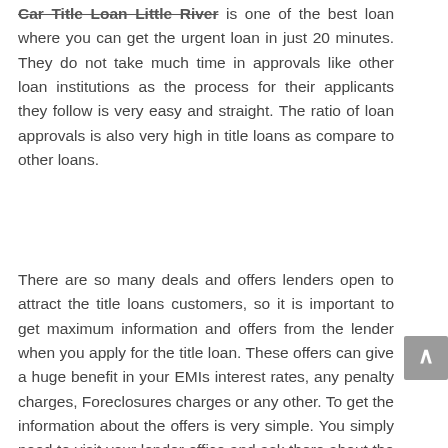Car Title Loan Little River is one of the best loan where you can get the urgent loan in just 20 minutes. They do not take much time in approvals like other loan institutions as the process for their applicants they follow is very easy and straight. The ratio of loan approvals is also very high in title loans as compare to other loans.
There are so many deals and offers lenders open to attract the title loans customers, so it is important to get maximum information and offers from the lender when you apply for the title loan. These offers can give a huge benefit in your EMIs interest rates, any penalty charges, Foreclosures charges or any other. To get the information about the offers is very simple. You simply need to visit your lender office and ask there about the offers. The lender representative will assist you surely and provide you the complete information about their current offers and deals. These offers depend on every lender